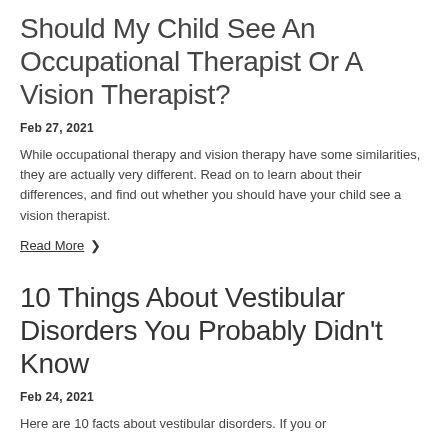Should My Child See An Occupational Therapist Or A Vision Therapist?
Feb 27, 2021
While occupational therapy and vision therapy have some similarities, they are actually very different. Read on to learn about their differences, and find out whether you should have your child see a vision therapist.
Read More ›
10 Things About Vestibular Disorders You Probably Didn't Know
Feb 24, 2021
Here are 10 facts about vestibular disorders. If you or